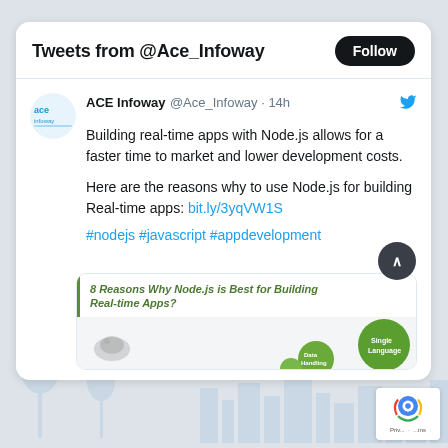Tweets from @Ace_Infoway
ACE Infoway @Ace_Infoway · 14h
Building real-time apps with Node.js allows for a faster time to market and lower development costs.

Here are the reasons why to use Node.js for building Real-time apps: bit.ly/3yqVW1S

#nodejs #javascript #appdevelopment
[Figure (infographic): Embedded media card preview showing '8 Reasons Why Node.js is Best for Building Real-time Apps?' with green circles labeled 'Data Handling' and 'Single Language', and a turtle/Node.js logo icon.]